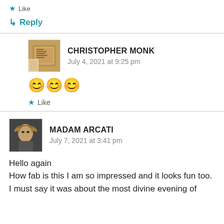★ Like
↳ Reply
CHRISTOPHER MONK
July 4, 2021 at 9:25 pm
😊😊😊
★ Like
[Figure (photo): Avatar photo of Christopher Monk showing a hand holding an old book]
MADAM ARCATI
July 7, 2021 at 3:41 pm
[Figure (photo): Avatar photo of Madam Arcati wearing a hat]
Hello again
How fab is this I am so impressed and it looks fun too.
I must say it was about the most divine evening of